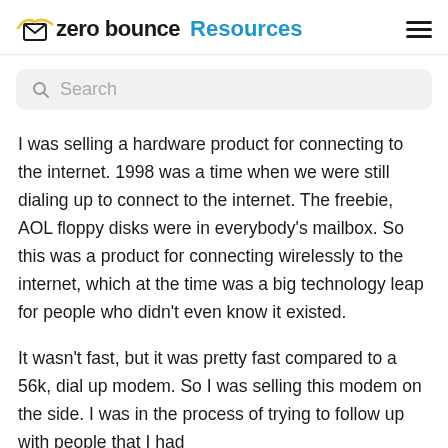zero bounce Resources
Search
I was selling a hardware product for connecting to the internet. 1998 was a time when we were still dialing up to connect to the internet. The freebie, AOL floppy disks were in everybody’s mailbox. So this was a product for connecting wirelessly to the internet, which at the time was a big technology leap for people who didn’t even know it existed.
It wasn’t fast, but it was pretty fast compared to a 56k, dial up modem. So I was selling this modem on the side. I was in the process of trying to follow up with people that I had...